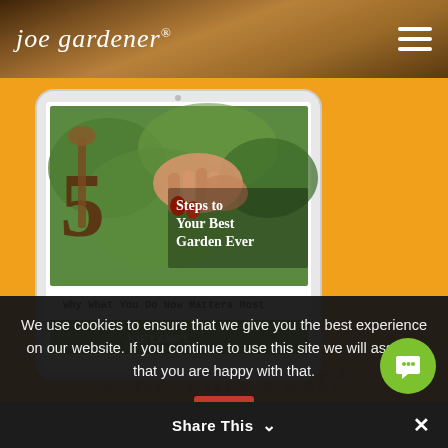joe gardener®
[Figure (illustration): Tablet/iPad showing book cover: '5 Steps to Your Best Garden Ever — Why What You Do Now Matters Most' by Joe Lamp'l, displayed on orange background]
We use cookies to ensure that we give you the best experience on our website. If you continue to use this site we will assume that you are happy with that.
OK
Like This Post?
Share This ∨  ✕